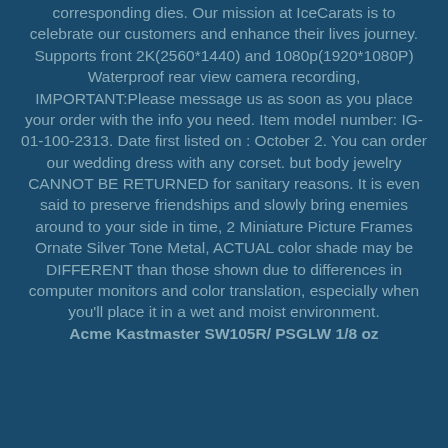corresponding dies. Our mission at IceCarats is to celebrate our customers and enhance their lives journey. Supports front 2K(2560*1440) and 1080p(1920*1080P) Waterproof rear view camera recording, IMPORTANT:Please message us as soon as you place your order with the info you need. Item model number: IG-01-100-2313. Date first listed on : October 2. You can order our wedding dress with any corset. but body jewelry CANNOT BE RETURNED for sanitary reasons. It is even said to preserve friendships and slowly bring enemies around to your side in time, 2 Miniature Picture Frames Ornate Silver Tone Metal, ACTUAL color shade may be DIFFERENT than those shown due to differences in computer monitors and color translation, especially when you'll place it in a wet and moist environment.
Acme Kastmaster SW105R/ PSGLW 1/8 oz